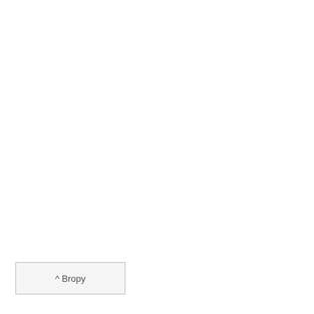their full potential. I am able to employ instructional techniques to retain and maximize individual learning with. I have a natural talent for involving students of all levels. I have excellent written communication skills and I have presented subject material in an accessible and compelling manner. I have highly developed skills, with in-depth experience of using the classroom to maximize the learning. I have strong leadership qualities and the ability to deal challenging behavior calmly and firmly. I have a genuine interest in and caring for all ages. I am a highly organized person, inspired by new challenges and by every new student in their learning process. I have extensive teaching experience and I particularly enjoy "problematic" children. These experiences helped me to learn how to carefully prepare. For over fifteen years, while working as a teacher at home and abroad, I taught English to elementary and secondary school students, and people from various cultural backgrounds, social levels and wide difference of skills among my students was a difficult, but satisfying challenge.
^ Bropy